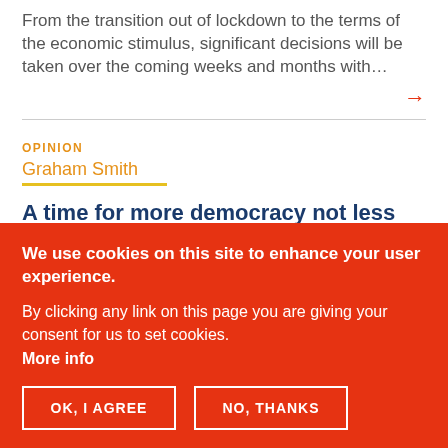From the transition out of lockdown to the terms of the economic stimulus, significant decisions will be taken over the coming weeks and months with…
OPINION
Graham Smith
A time for more democracy not less
We use cookies on this site to enhance your user experience.
By clicking any link on this page you are giving your consent for us to set cookies.
More info
OK, I AGREE
NO, THANKS